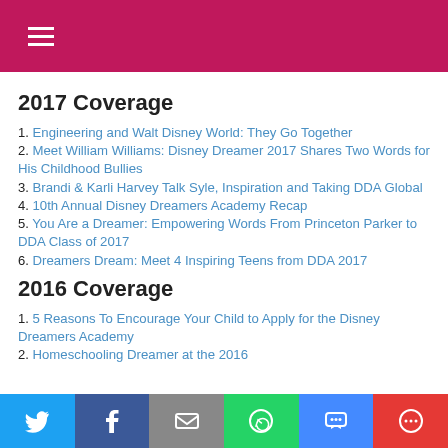≡
2017 Coverage
1. Engineering and Walt Disney World: They Go Together
2. Meet William Williams: Disney Dreamer 2017 Shares Two Words for His Childhood Bullies
3. Brandi & Karli Harvey Talk Syle, Inspiration and Taking DDA Global
4. 10th Annual Disney Dreamers Academy Recap
5. You Are a Dreamer: Empowering Words From Princeton Parker to DDA Class of 2017
6. Dreamers Dream: Meet 4 Inspiring Teens from DDA 2017
2016 Coverage
1. 5 Reasons To Encourage Your Child to Apply for the Disney Dreamers Academy
2. Homeschooling Dreamer at the 2016
Twitter | Facebook | Email | WhatsApp | SMS | More